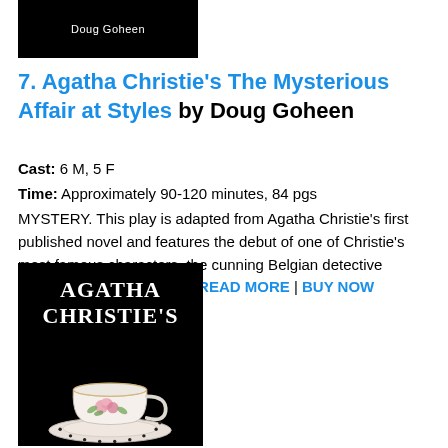[Figure (other): Black banner image with white text reading 'Doug Goheen']
7. Agatha Christie's The Mysterious Affair at Styles by Doug Goheen
Cast: 6 M, 5 F
Time: Approximately 90-120 minutes, 84 pgs
MYSTERY. This play is adapted from Agatha Christie's first published novel and features the debut of one of Christie's most famous characters, the cunning Belgian detective Hercule Poirot. At an iso… READ MORE | BUY NOW
[Figure (illustration): Black background book cover image with 'AGATHA CHRISTIE'S' text in white and an illustration of a floral teacup and saucer]